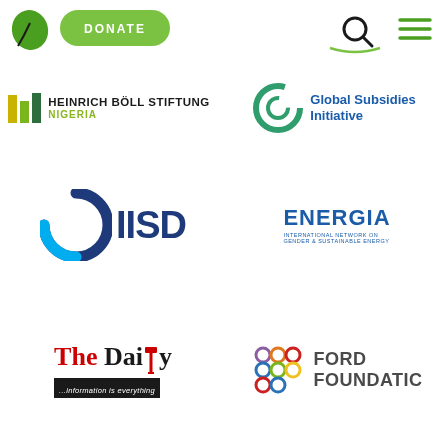[Figure (logo): Website navigation bar with a green leaf/Nigeria logo, green DONATE button, search icon, and hamburger menu icon]
[Figure (logo): Heinrich Böll Stiftung Nigeria logo with colored vertical bars and text]
[Figure (logo): Global Subsidies Initiative logo with circular arrow icon and text]
[Figure (logo): IISD logo with dark blue and cyan circular arc and bold IISD text]
[Figure (logo): ENERGIA International Network on Gender & Sustainable Energy logo]
[Figure (logo): The Daily newspaper logo with red and black text and tagline ...information is everything]
[Figure (logo): Ford Foundation logo with colorful circle clusters and text]